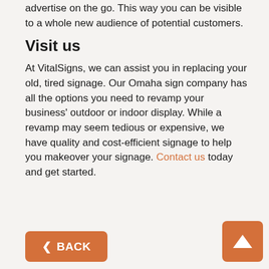advertise on the go. This way you can be visible to a whole new audience of potential customers.
Visit us
At VitalSigns, we can assist you in replacing your old, tired signage. Our Omaha sign company has all the options you need to revamp your business' outdoor or indoor display. While a revamp may seem tedious or expensive, we have quality and cost-efficient signage to help you makeover your signage. Contact us today and get started.